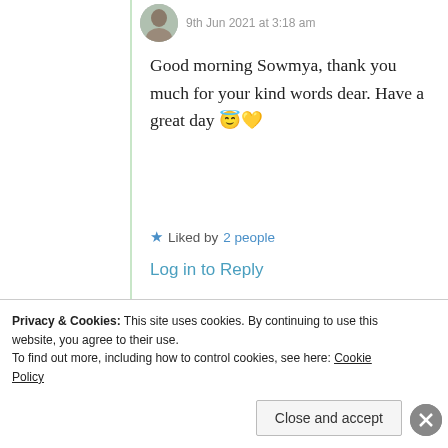9th Jun 2021 at 3:18 am
Good morning Sowmya, thank you much for your kind words dear. Have a great day 😇💛
★ Liked by 2 people
Log in to Reply
Zina Hermez
Privacy & Cookies: This site uses cookies. By continuing to use this website, you agree to their use. To find out more, including how to control cookies, see here: Cookie Policy
Close and accept